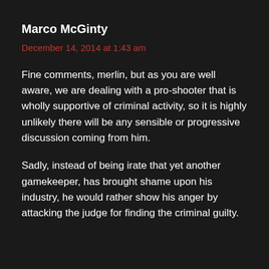Marco McGinty
December 14, 2014 at 1:43 am
Fine comments, merlin, but as you are well aware, we are dealing with a pro-shooter that is wholly supportive of criminal activity, so it is highly unlikely there will be any sensible or progressive discussion coming from him.
Sadly, instead of being irate that yet another gamekeeper, has brought shame upon his industry, he would rather show his anger by attacking the judge for finding the criminal guilty.